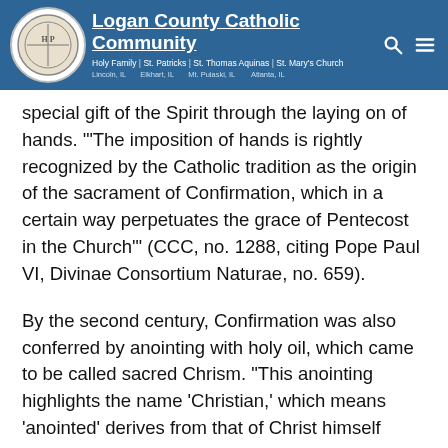Logan County Catholic Community — Holy Family | St. Patricks | St. Thomas Aquinas | St. Mary's Church — Lincoln, IL | Elkhart, IL | Mt. Pulaski, IL | Atlanta, IL
special gift of the Spirit through the laying on of hands. '"The imposition of hands is rightly recognized by the Catholic tradition as the origin of the sacrament of Confirmation, which in a certain way perpetuates the grace of Pentecost in the Church'" (CCC, no. 1288, citing Pope Paul VI, Divinae Consortium Naturae, no. 659).
By the second century, Confirmation was also conferred by anointing with holy oil, which came to be called sacred Chrism. "This anointing highlights the name 'Christian,' which means 'anointed' derives from that of Christ himself whom God 'anointed with the Holy Spirit'" (CCC, no. 1289, citing